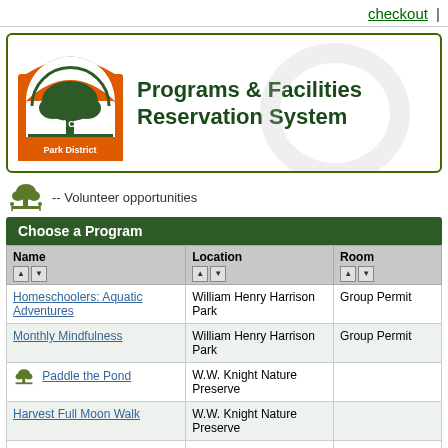checkout  |
[Figure (logo): Wood County Park District logo: orange arch with green tree and text 'Wood County Park District']
Programs & Facilities Reservation System
-- Volunteer opportunities
Choose a Program
| Name | Location | Room |
| --- | --- | --- |
| Homeschoolers: Aquatic Adventures | William Henry Harrison Park | Group Permit |
| Monthly Mindfulness | William Henry Harrison Park | Group Permit |
| Paddle the Pond | W.W. Knight Nature Preserve |  |
| Harvest Full Moon Walk | W.W. Knight Nature Preserve |  |
| Fall Yoga at W.W. Knight Nature Preserve | W.W. Knight Nature Preserve |  |
| Preschoolers in the Parks: Spiders | W.W. Knight Nature Preserve | W.W. Knight Nature Center: Room |